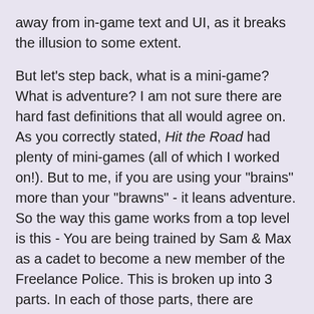away from in-game text and UI, as it breaks the illusion to some extent.

But let's step back, what is a mini-game? What is adventure? I am not sure there are hard fast definitions that all would agree on. As you correctly stated, Hit the Road had plenty of mini-games (all of which I worked on!). But to me, if you are using your "brains" more than your "brawns" - it leans adventure. So the way this game works from a top level is this - You are being trained by Sam & Max as a cadet to become a new member of the Freelance Police. This is broken up into 3 parts. In each of those parts, there are aspects that are much more brainy than brawns. We have one Course called "Get A Clue" which is basically a Sam & Max Escape Room (complete with dead clone corpses of them!). Each time you replay it, it will be slightly different. It's all puzzles and clue solving.  Then, after you complete a few courses,